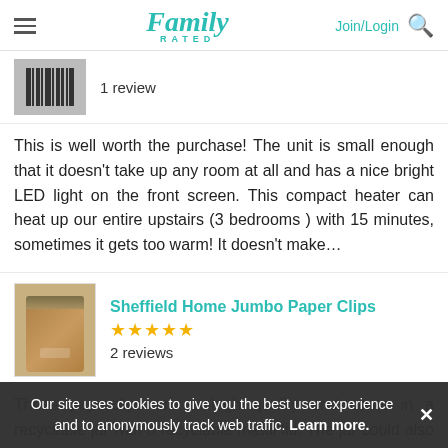Family Rated — Join/Login [search]
[Figure (photo): Product image placeholder with barcode stripes]
1 review
This is well worth the purchase! The unit is small enough that it doesn't take up any room at all and has a nice bright LED light on the front screen. This compact heater can heat up our entire upstairs (3 bedrooms ) with 15 minutes, sometimes it gets too warm! It doesn't make…
[Figure (photo): Sheffield Home Jumbo Paper Clips product image — hand holding a glass jar with metal lid containing paper clips]
Sheffield Home Jumbo Paper Clips
★★★★★
2 reviews
These paperclips are a high quality and come in a recyclable jar with a recyclable metal lid. The jar could also be repurposed. This is exactly the kind of product we should all be buying to have a positive impact on the Earth. We need to drastically reduce our dependence on…
Our site uses cookies to give you the best user experience and to anonymously track web traffic. Learn more.